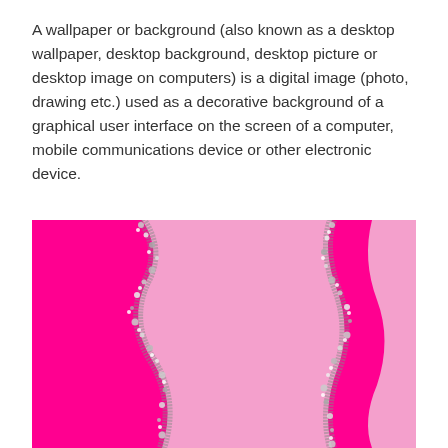A wallpaper or background (also known as a desktop wallpaper, desktop background, desktop picture or desktop image on computers) is a digital image (photo, drawing etc.) used as a decorative background of a graphical user interface on the screen of a computer, mobile communications device or other electronic device.
[Figure (illustration): A decorative wallpaper image with magenta/hot-pink and light pink curved sections separated by a sparkling/glittery silver zigzag border. The composition shows two curved S-shaped glittery boundaries dividing the image into alternating hot pink and light pink regions.]